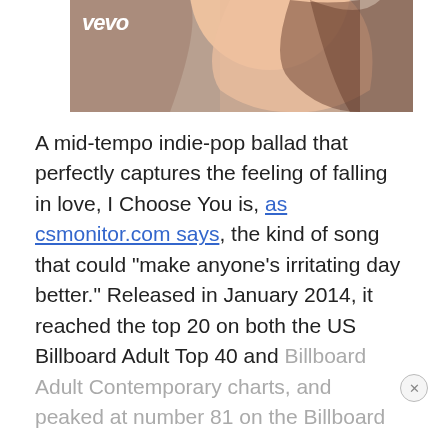[Figure (screenshot): Vevo video thumbnail showing a woman with brown hair, white top, with the Vevo logo in white text at top left]
A mid-tempo indie-pop ballad that perfectly captures the feeling of falling in love, I Choose You is, as csmonitor.com says, the kind of song that could “make anyone’s irritating day better.” Released in January 2014, it reached the top 20 on both the US Billboard Adult Top 40 and Billboard Adult Contemporary charts, and peaked at number 81 on the Billboard